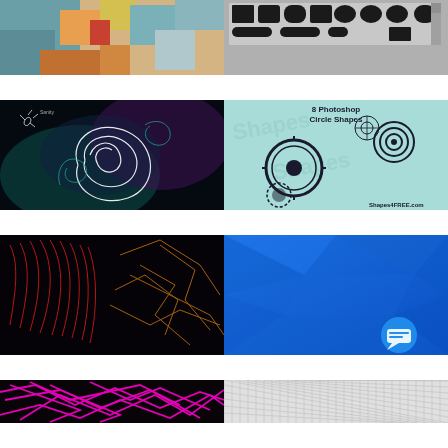[Figure (illustration): Colorful geometric abstract painting with rectangles in teal, orange, yellow, blue, red on beige background]
[Figure (screenshot): Photoshop custom shape picker panel showing various black shapes like arrows, speech bubbles, rectangles on grey background]
[Figure (illustration): Dark background with glowing white swirl and tribal/fractal light painting designs in teal and purple]
[Figure (illustration): 8 Photoshop Circle Shapes preview on light blue background from Shapes4FREE.com showing gears and concentric circle designs]
[Figure (illustration): Dark background with red and orange glowing line art - curved red parallel lines on left, angular orange geometric shapes on right]
[Figure (illustration): Solid blue polygonal low-poly geometric background with chat bubble icon in lower right corner]
[Figure (illustration): Magenta/pink neon geometric line art on black background - angular shapes and lines]
[Figure (illustration): Light grey background with fine parallel diagonal hatching lines pattern]